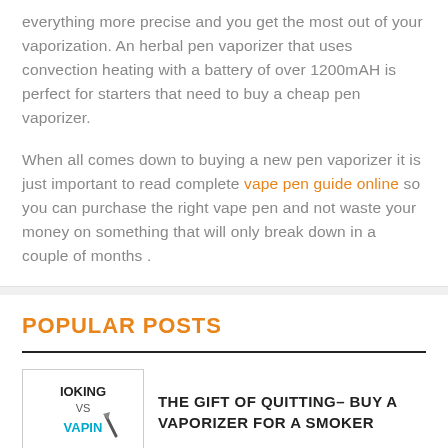everything more precise and you get the most out of your vaporization. An herbal pen vaporizer that uses convection heating with a battery of over 1200mAH is perfect for starters that need to buy a cheap pen vaporizer.
When all comes down to buying a new pen vaporizer it is just important to read complete vape pen guide online so you can purchase the right vape pen and not waste your money on something that will only break down in a couple of months .
POPULAR POSTS
[Figure (illustration): Thumbnail image showing text 'IOKING VS VAPIN' with a pencil icon]
THE GIFT OF QUITTING– BUY A VAPORIZER FOR A SMOKER